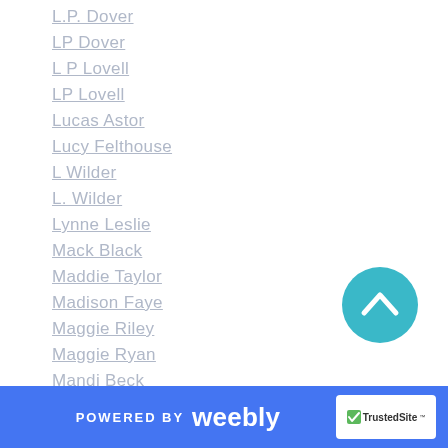L.P. Dover
LP Dover
L P Lovell
LP Lovell
Lucas Astor
Lucy Felthouse
L Wilder
L. Wilder
Lynne Leslie
Mack Black
Maddie Taylor
Madison Faye
Maggie Riley
Maggie Ryan
Mandi Beck
M Andrews
Mara White
[Figure (other): Teal circular scroll-to-top button with upward chevron arrow]
POWERED BY weebly | TrustedSite